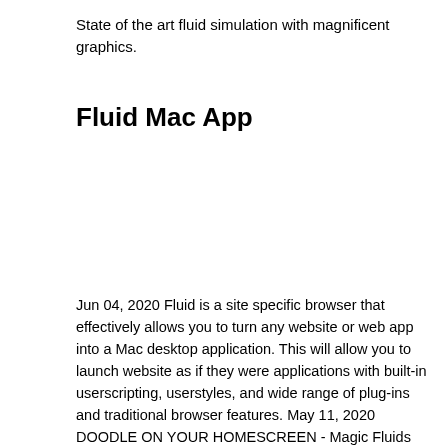State of the art fluid simulation with magnificent graphics.
Fluid Mac App
Jun 04, 2020 Fluid is a site specific browser that effectively allows you to turn any website or web app into a Mac desktop application. This will allow you to launch website as if they were applications with built-in userscripting, userstyles, and wide range of plug-ins and traditional browser features. May 11, 2020 DOODLE ON YOUR HOMESCREEN - Magic Fluids can be used as a Live Wallpaper as